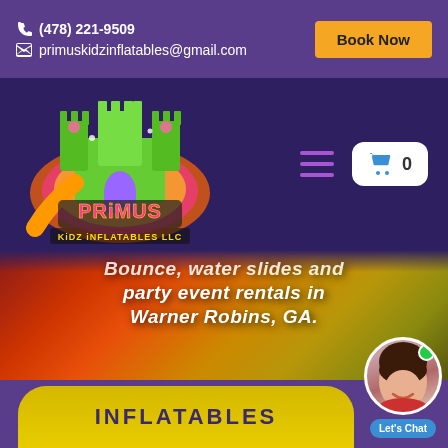(478) 221-9509  primuskidzinflatables@gmail.com  Book Now
[Figure (logo): Primus Kidz Inflatables LLC logo — colorful bouncy castle with rainbow splash and stylized text]
☰  0
Bounce, water slides and party event rentals in Warner Robins, GA.
INFLATABLES
[Figure (photo): Chat widget with female avatar, green online dot, and 'Let's Chat' blue label]